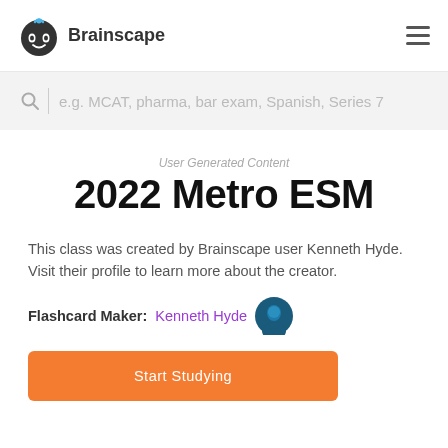Brainscape
e.g. MCAT, pharma, bar exam, Spanish, Series 7
User Generated Content
2022 Metro ESM
This class was created by Brainscape user Kenneth Hyde. Visit their profile to learn more about the creator.
Flashcard Maker: Kenneth Hyde
Start Studying